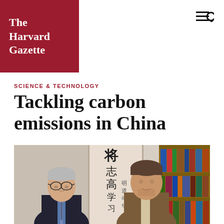The Harvard Gazette
SCIENCE & TECHNOLOGY
Tackling carbon emissions in China
[Figure (photo): Two men standing in an office in front of a Chinese calligraphy scroll and bookshelves. The man on the left is elderly, wearing glasses and a dark suit with a blue shirt and tie. The man on the right is middle-aged, wearing a brown jacket.]